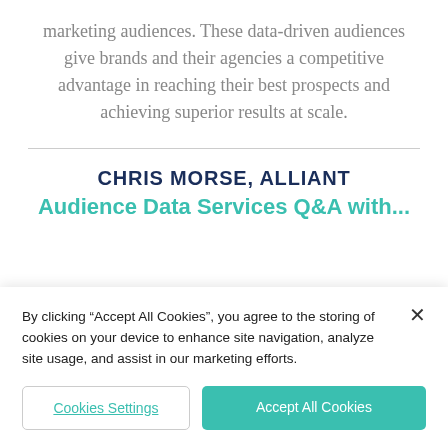marketing audiences. These data-driven audiences give brands and their agencies a competitive advantage in reaching their best prospects and achieving superior results at scale.
CHRIS MORSE, ALLIANT
Audience Data Services Q&A with...
By clicking “Accept All Cookies”, you agree to the storing of cookies on your device to enhance site navigation, analyze site usage, and assist in our marketing efforts.
Cookies Settings
Accept All Cookies